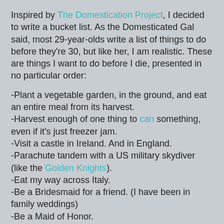Inspired by The Domestication Project, I decided to write a bucket list. As the Domesticated Gal said, most 29-year-olds write a list of things to do before they're 30, but like her, I am realistic. These are things I want to do before I die, presented in no particular order:
-Plant a vegetable garden, in the ground, and eat an entire meal from its harvest.
-Harvest enough of one thing to can something, even if it's just freezer jam.
-Visit a castle in Ireland. And in England.
-Parachute tandem with a US military skydiver (like the Golden Knights).
-Eat my way across Italy.
-Be a Bridesmaid for a friend. (I have been in family weddings)
-Be a Maid of Honor.
-Be a Bride. (Maybe my Groom will take me on that Italy trip!)
-Be a Mother.
-Ride in a limo.